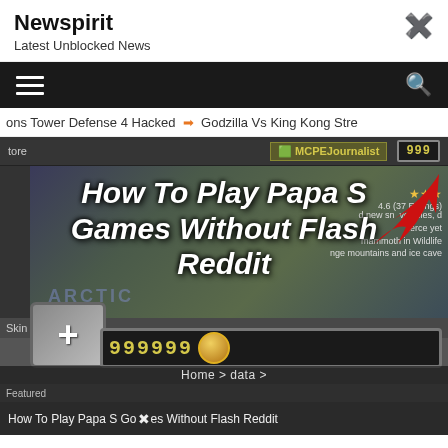Newspirit
Latest Unblocked News
[Figure (screenshot): Navigation bar with hamburger menu icon and search icon on dark background]
ons Tower Defense 4 Hacked  ➡  Godzilla Vs King Kong Stre
[Figure (screenshot): Screenshot of a Minecraft-style game interface with MCPEJournalist badge, coin counter showing 9999, Arctic game content, and overlaid title text 'How To Play Papa S Games Without Flash Reddit']
Home > data >
How To Play Papa S Games Without Flash Reddit